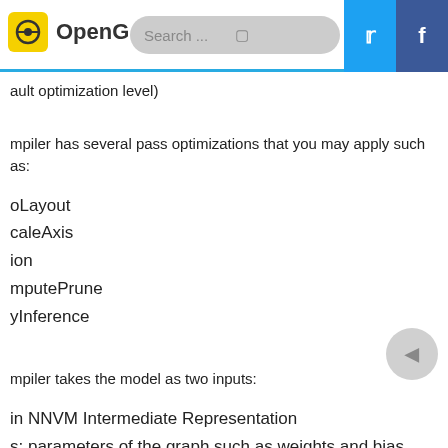OpenG | Search ...
ault optimization level)
mpiler has several pass optimizations that you may apply such as:
oLayout
caleAxis
ion
mputePrune
yInference
mpiler takes the model as two inputs:
in NNVM Intermediate Representation
s: parameters of the graph such as weights and bias